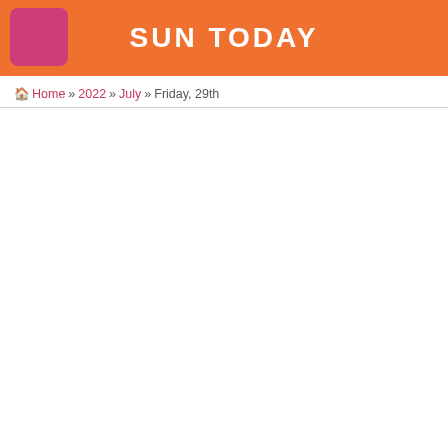SUN TODAY
🏠 Home » 2022 » July » Friday, 29th